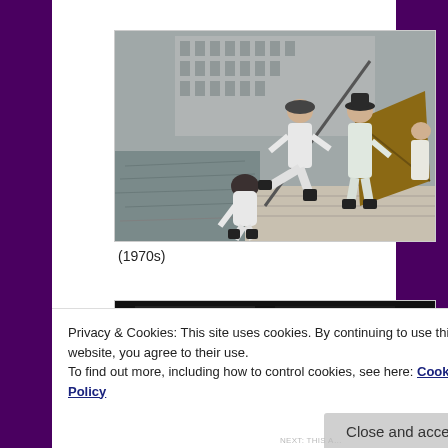[Figure (photo): A 1970s martial arts scene outdoors showing three men in white uniforms and black boots. One man is kicking another who is bending down, while a third man stands behind holding a pole/stick. Background shows a building and water.]
(1970s)
[Figure (photo): Partial view of a second photograph, mostly dark/black, at the bottom of the page partially obscured by the cookie banner.]
Privacy & Cookies: This site uses cookies. By continuing to use this website, you agree to their use.
To find out more, including how to control cookies, see here: Cookie Policy
Close and accept